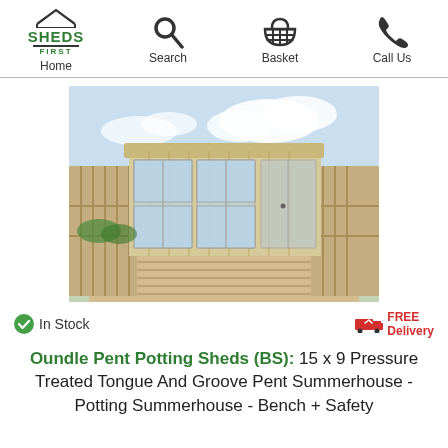Home | Search | Basket | Call Us
[Figure (photo): Photo of a wooden pent summerhouse/potting shed with large glass windows and a pent roof, situated on decking with wooden fences on either side.]
In Stock
FREE Delivery
Oundle Pent Potting Sheds (BS): 15 x 9 Pressure Treated Tongue And Groove Pent Summerhouse - Potting Summerhouse - Bench + Safety